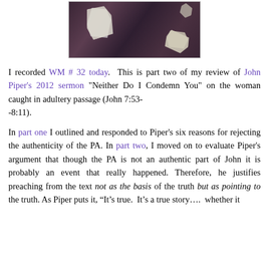[Figure (photo): A photograph showing torn pieces of paper with text on a dark fabric/textile background.]
I recorded WM # 32 today.  This is part two of my review of John Piper's 2012 sermon "Neither Do I Condemn You" on the woman caught in adultery passage (John 7:53--8:11).
In part one I outlined and responded to Piper's six reasons for rejecting the authenticity of the PA. In part two, I moved on to evaluate Piper's argument that though the PA is not an authentic part of John it is probably an event that really happened. Therefore, he justifies preaching from the text not as the basis of the truth but as pointing to the truth. As Piper puts it, “It’s true.  It’s a true story….  whether it